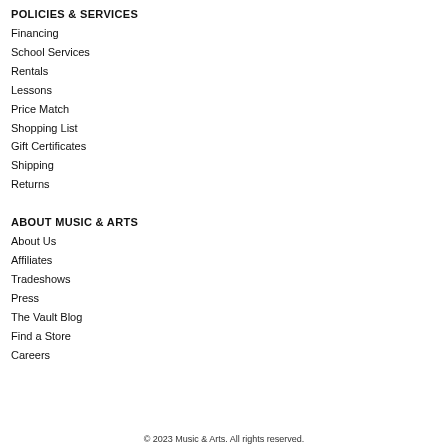POLICIES & SERVICES
Financing
School Services
Rentals
Lessons
Price Match
Shopping List
Gift Certificates
Shipping
Returns
ABOUT MUSIC & ARTS
About Us
Affiliates
Tradeshows
Press
The Vault Blog
Find a Store
Careers
© 2023 Music & Arts. All rights reserved.